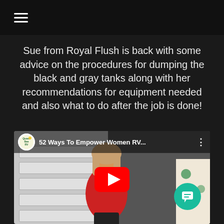≡ (hamburger menu)
Sue from Royal Flush is back with some advice on the procedures for dumping the black and gray tanks along with her recommendations for equipment needed and also what to do after the job is done!
[Figure (screenshot): YouTube video thumbnail showing '52 Ways To Empower Women RV...' with a woman in a red shirt sitting in an RV interior. Channel logo shows 'Queen Bee RV'. Red YouTube play button visible in center. Teal chat bubble icon in bottom right.]